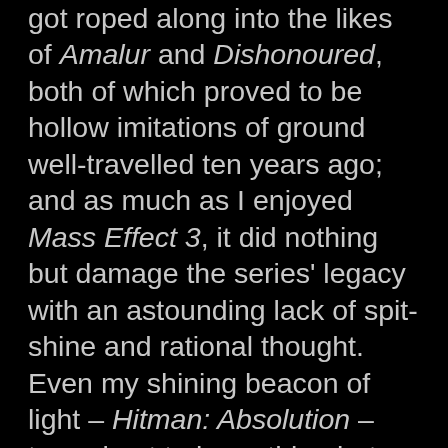got roped along into the likes of Amalur and Dishonoured, both of which proved to be hollow imitations of ground well-travelled ten years ago; and as much as I enjoyed Mass Effect 3, it did nothing but damage the series' legacy with an astounding lack of spit-shine and rational thought. Even my shining beacon of light – Hitman: Absolution – turned out to be nothing but a dwindling flame in the end.
As a result, most of my favourite games appeared on the PC this year, in most cases developed by independent developers. By my estimation, until some new hardware gets announced, the Indies are ruling the roost